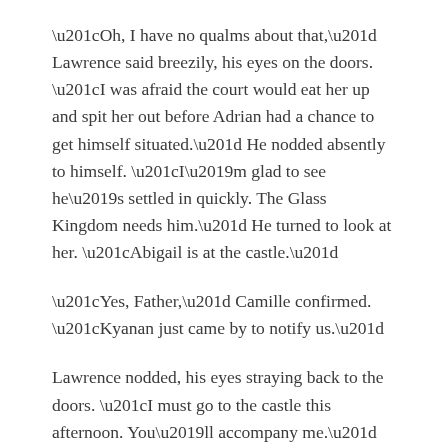“Oh, I have no qualms about that,” Lawrence said breezily, his eyes on the doors. “I was afraid the court would eat her up and spit her out before Adrian had a chance to get himself situated.” He nodded absently to himself. “I’m glad to see he’s settled in quickly. The Glass Kingdom needs him.” He turned to look at her. “Abigail is at the castle.”
“Yes, Father,” Camille confirmed. “Kyanan just came by to notify us.”
Lawrence nodded, his eyes straying back to the doors. “I must go to the castle this afternoon. You’ll accompany me.”
“Yes, Father.” She hesitated. “And Stepmother and Madeline?”